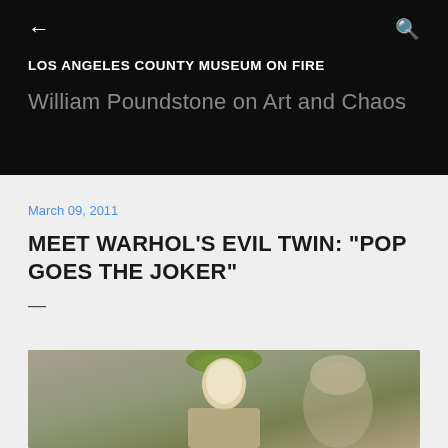← LOS ANGELES COUNTY MUSEUM ON FIRE
William Poundstone on Art and Chaos
March 09, 2011
MEET WARHOL'S EVIL TWIN: "POP GOES THE JOKER"
—
[Figure (photo): A photo showing a figure with green hair, appears to be Joker-related imagery, partially cropped at bottom of page]